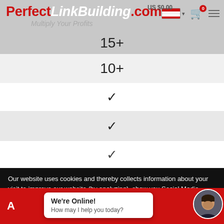PerfectLinkBuilding.com – Multiply Your Profits
15+
10+
✓
✓
Our website uses cookies and thereby collects information about your visit to improve our website (by analyzing), show you Social Media content and relevant advertisements. Please see our cookies page for furher details or agree by clicking the 'Accept' button.
We're Online! How may I help you today?